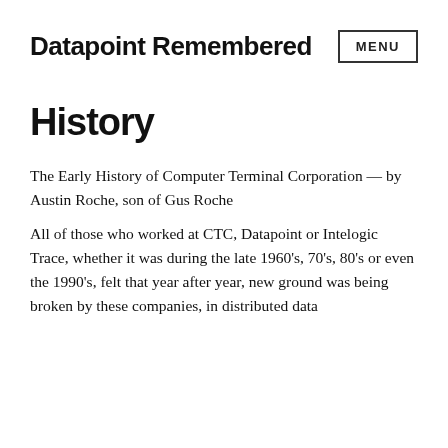Datapoint Remembered
History
The Early History of Computer Terminal Corporation — by Austin Roche, son of Gus Roche
All of those who worked at CTC, Datapoint or Intelogic Trace, whether it was during the late 1960's, 70's, 80's or even the 1990's, felt that year after year, new ground was being broken by these companies, in distributed data